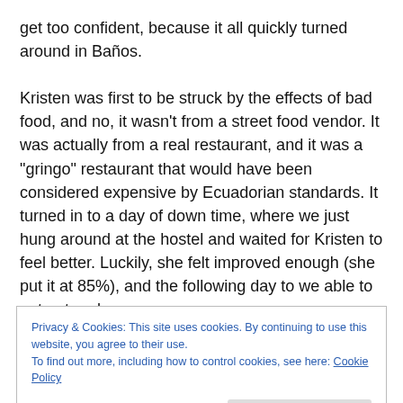get too confident, because it all quickly turned around in Baños.

Kristen was first to be struck by the effects of bad food, and no, it wasn't from a street food vendor. It was actually from a real restaurant, and it was a "gringo" restaurant that would have been considered expensive by Ecuadorian standards. It turned in to a day of down time, where we just hung around at the hostel and waited for Kristen to feel better. Luckily, she felt improved enough (she put it at 85%), and the following day to we able to get out and
Privacy & Cookies: This site uses cookies. By continuing to use this website, you agree to their use.
To find out more, including how to control cookies, see here: Cookie Policy
Close and accept
antibiotics), until he felt completely improved.